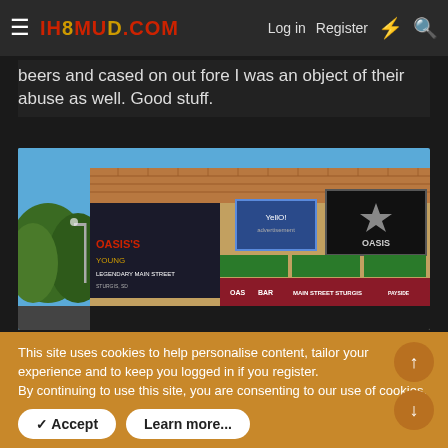IH8MUD.COM   Log in   Register
beers and cased on out fore I was an object of their abuse as well. Good stuff.
[Figure (photo): A brick building with green awnings and dark red storefront bar reading 'OASIS BAR  MAIN STREET STURGIS  PAYSIDE'. A star/spur logo sign labeled 'OASIS' is visible on the right. Blue sky above, trees on left.]
This site uses cookies to help personalise content, tailor your experience and to keep you logged in if you register.
By continuing to use this site, you are consenting to our use of cookies.
✓ Accept   Learn more...
Galeon
Explore The Galeon 400 FLY
SEE MORE